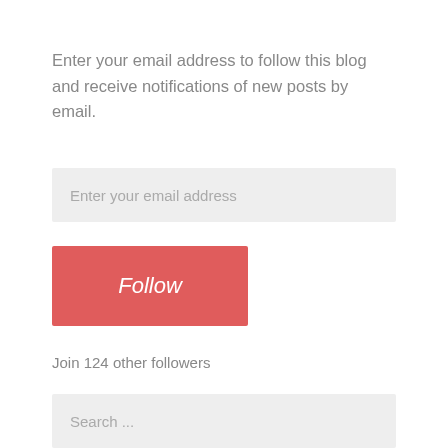Enter your email address to follow this blog and receive notifications of new posts by email.
Enter your email address
Follow
Join 124 other followers
Search ...